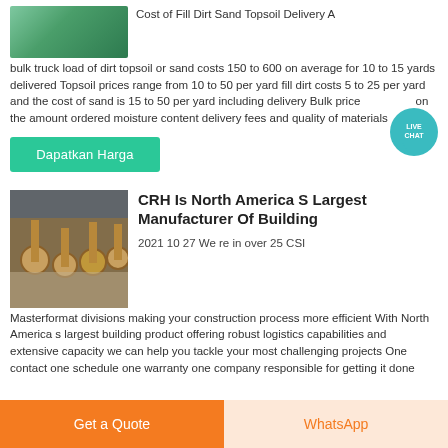[Figure (photo): Thumbnail image of green/outdoor scene, partially visible at top]
Cost of Fill Dirt Sand Topsoil Delivery A bulk truck load of dirt topsoil or sand costs 150 to 600 on average for 10 to 15 yards delivered Topsoil prices range from 10 to 50 per yard fill dirt costs 5 to 25 per yard and the cost of sand is 15 to 50 per yard including delivery Bulk prices depend on the amount ordered moisture content delivery fees and quality of materials
[Figure (other): Live Chat button/bubble overlay in teal color]
Dapatkan Harga
[Figure (photo): Photo of industrial metal bolts/fasteners on a surface]
CRH Is North America S Largest Manufacturer Of Building
2021 10 27 We re in over 25 CSI Masterformat divisions making your construction process more efficient With North America s largest building product offering robust logistics capabilities and extensive capacity we can help you tackle your most challenging projects One contact one schedule one warranty one company responsible for getting it done
Get a Quote
WhatsApp